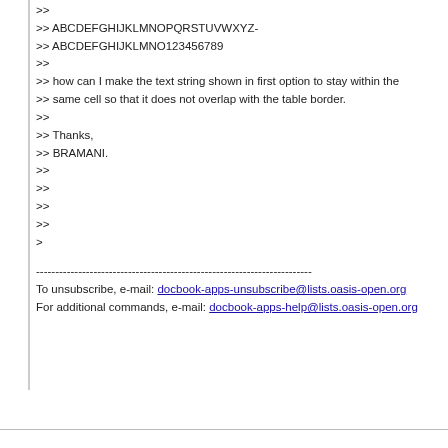>>
>> ABCDEFGHIJKLMNOPQRSTUVWXYZ-
>> ABCDEFGHIJKLMNO123456789
>>
>> how can I make the text string shown in first option to stay within the
>> same cell so that it does not overlap with the table border.
>>
>> Thanks,
>> BRAMANI.
>>
>>
>>
>>
>
------------------------------------------------------------------------
To unsubscribe, e-mail: docbook-apps-unsubscribe@lists.oasis-open.org
For additional commands, e-mail: docbook-apps-help@lists.oasis-open.org